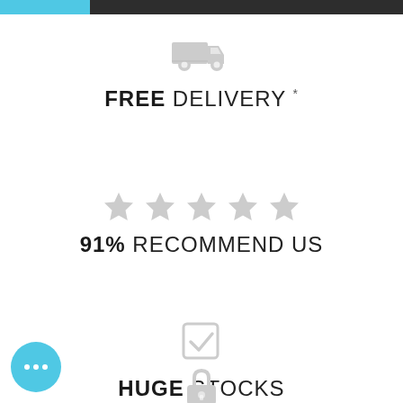[Figure (infographic): Top navigation bar with blue and dark grey sections]
[Figure (infographic): Delivery truck icon in light grey]
FREE DELIVERY *
[Figure (infographic): Five grey stars rating]
91% RECOMMEND US
[Figure (infographic): Checkmark/tick box icon in light grey]
HUGE STOCKS
[Figure (infographic): Padlock/lock icon in light grey]
SAFE & SECURE
[Figure (infographic): Chat bubble button bottom left with three dots]